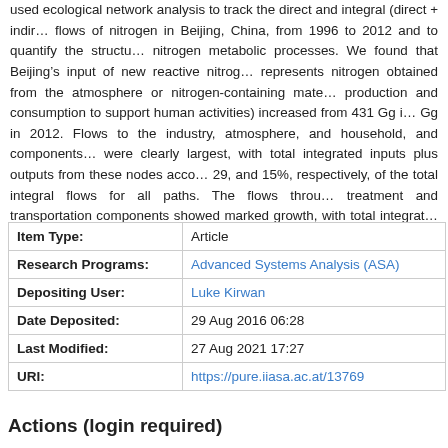used ecological network analysis to track the direct and integral (direct + indirect) flows of nitrogen in Beijing, China, from 1996 to 2012 and to quantify the structure of nitrogen metabolic processes. We found that Beijing's input of new reactive nitrogen (represents nitrogen obtained from the atmosphere or nitrogen-containing materials for production and consumption to support human activities) increased from 431 Gg in 1996 to Gg in 2012. Flows to the industry, atmosphere, and household, and components were clearly largest, with total integrated inputs plus outputs from these nodes accounting for 29, and 15%, respectively, of the total integral flows for all paths. The flows through treatment and transportation components showed marked growth, with total integrated inputs plus outputs increasing to 3.7 and 5.2 times their 1996 values, respectively. Our results help policymakers to locate the key nodes and pathways in an urban nitrogen metabolic system so can monitor and manage these components of the system.
| Field | Value |
| --- | --- |
| Item Type: | Article |
| Research Programs: | Advanced Systems Analysis (ASA) |
| Depositing User: | Luke Kirwan |
| Date Deposited: | 29 Aug 2016 06:28 |
| Last Modified: | 27 Aug 2021 17:27 |
| URI: | https://pure.iiasa.ac.at/13769 |
Actions (login required)